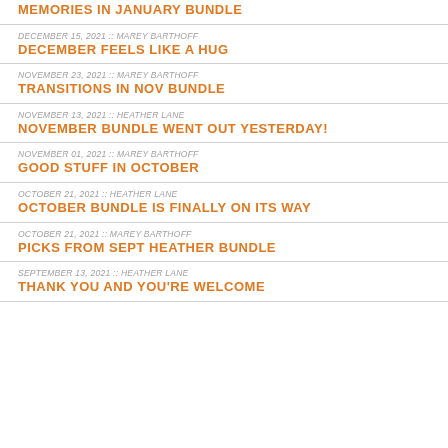MEMORIES IN JANUARY BUNDLE
DECEMBER 15, 2021 :: MAREY BARTHOFF
DECEMBER FEELS LIKE A HUG
NOVEMBER 23, 2021 :: MAREY BARTHOFF
TRANSITIONS IN NOV BUNDLE
NOVEMBER 13, 2021 :: HEATHER LANE
NOVEMBER BUNDLE WENT OUT YESTERDAY!
NOVEMBER 01, 2021 :: MAREY BARTHOFF
GOOD STUFF IN OCTOBER
OCTOBER 21, 2021 :: HEATHER LANE
OCTOBER BUNDLE IS FINALLY ON ITS WAY
OCTOBER 21, 2021 :: MAREY BARTHOFF
PICKS FROM SEPT HEATHER BUNDLE
SEPTEMBER 13, 2021 :: HEATHER LANE
THANK YOU AND YOU'RE WELCOME